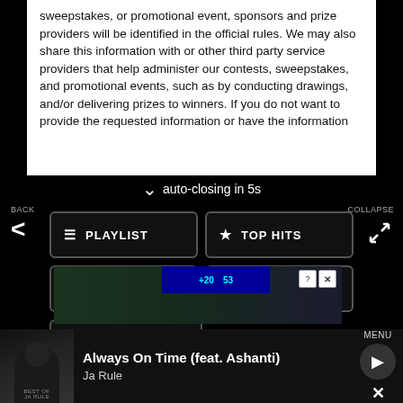sweepstakes, or promotional event, sponsors and prize providers will be identified in the official rules. We may also share this information with or other third party service providers that help administer our contests, sweepstakes, and promotional events, such as by conducting drawings, and/or delivering prizes to winners. If you do not want to provide the requested information or have the information
auto-closing in 5s
BACK
COLLAPSE
[Figure (screenshot): Navigation menu with buttons: PLAYLIST, TOP HITS, LISTEN LIVE, MY VOTES, CONTROLS]
[Figure (screenshot): Data opt-out toggle switch]
[Figure (screenshot): Advertisement video strip with close button]
[Figure (screenshot): Now playing bar showing Always On Time (feat. Ashanti) by Ja Rule with album art and play button]